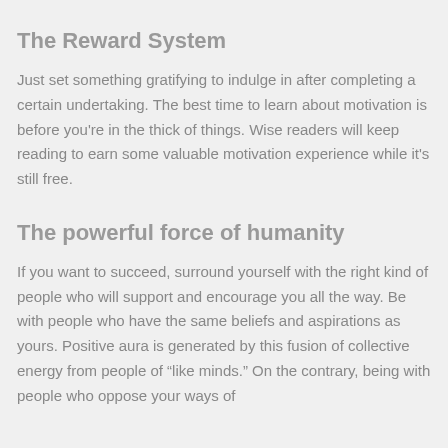The Reward System
Just set something gratifying to indulge in after completing a certain undertaking. The best time to learn about motivation is before you're in the thick of things. Wise readers will keep reading to earn some valuable motivation experience while it's still free.
The powerful force of humanity
If you want to succeed, surround yourself with the right kind of people who will support and encourage you all the way. Be with people who have the same beliefs and aspirations as yours. Positive aura is generated by this fusion of collective energy from people of “like minds.” On the contrary, being with people who oppose your ways of